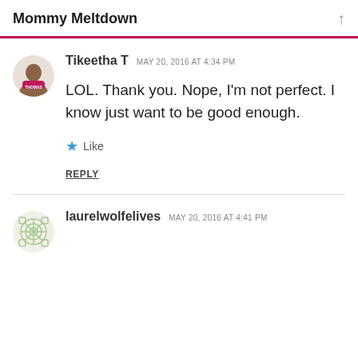Mommy Meltdown
Tikeetha T  MAY 20, 2016 AT 4:34 PM
LOL. Thank you. Nope, I'm not perfect. I know just want to be good enough.
Like
REPLY
laurelwolfelives  MAY 20, 2016 AT 4:41 PM